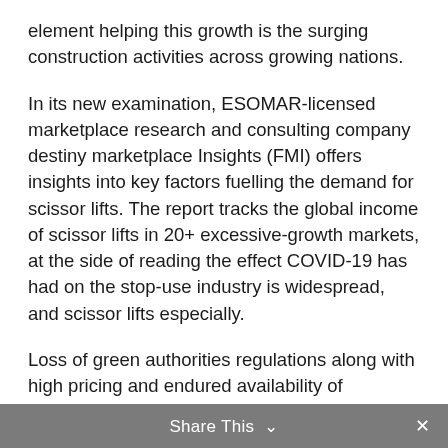element helping this growth is the surging construction activities across growing nations.
In its new examination, ESOMAR-licensed marketplace research and consulting company destiny marketplace Insights (FMI) offers insights into key factors fuelling the demand for scissor lifts. The report tracks the global income of scissor lifts in 20+ excessive-growth markets, at the side of reading the effect COVID-19 has had on the stop-use industry is widespread, and scissor lifts especially.
Loss of green authorities regulations along with high pricing and endured availability of traditional techniques have remained the important thing worries for producers of scissor elevate. Nevertheless, the marketplace is presenting process a huge transformation because of organizations shifting their cognizance away from mature markets to developing international
Share This ∨  ×